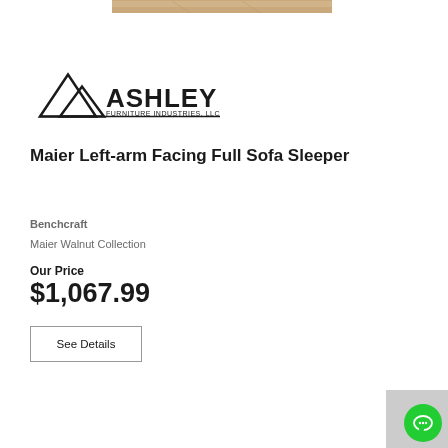[Figure (photo): Partial product photo showing wood-toned furniture surface at top of page]
[Figure (logo): Ashley Furniture Industries, LLC logo with mountain/triangle graphic and bold text]
Maier Left-arm Facing Full Sofa Sleeper
Benchcraft
Maier Walnut Collection
Our Price
$1,067.99
See Details
[Figure (illustration): Green circular chat/support button in bottom-right corner]